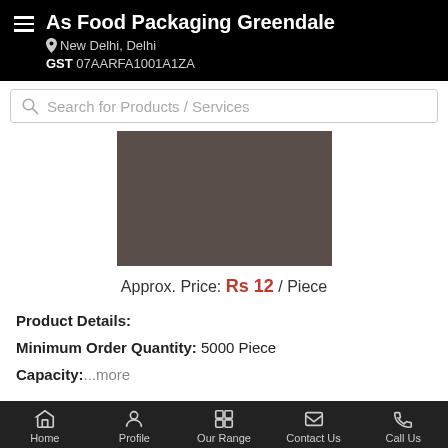As Food Packaging Greendale
New Delhi, Delhi
GST 07AARFA1001A1ZA
Search for Products / Services
[Figure (photo): Product image placeholder — dark brownish-grey rectangle representing a food packaging product photo]
Approx. Price: Rs 12 / Piece
Product Details:
Minimum Order Quantity: 5000 Piece
Capacity: ...more
Call Us
Get Details
Home   Profile   Our Range   Contact Us   Call Us